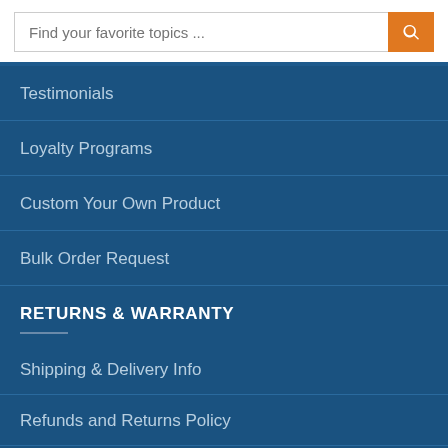Find your favorite topics ...
Testimonials
Loyalty Programs
Custom Your Own Product
Bulk Order Request
RETURNS & WARRANTY
Shipping & Delivery Info
Refunds and Returns Policy
Taxes & Duties
CUSTOMER SERVICE